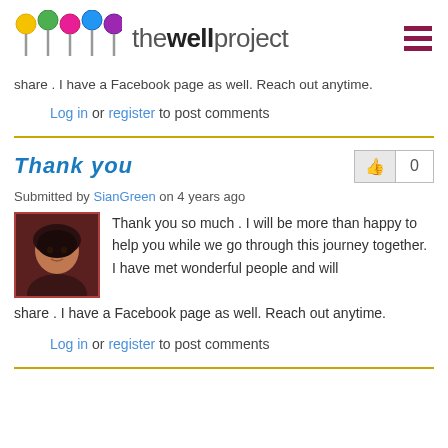thewellproject
share . I have a Facebook page as well. Reach out anytime.
Log in or register to post comments
Thank you
Submitted by SianGreen on 4 years ago
Thank you so much . I will be more than happy to help you while we go through this journey together. I have met wonderful people and will share . I have a Facebook page as well. Reach out anytime.
Log in or register to post comments